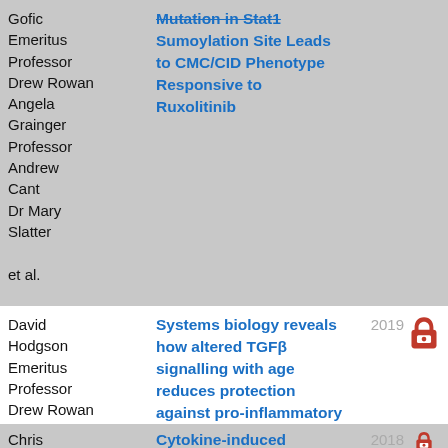| Author | Title | Year | OA |
| --- | --- | --- | --- |
| Gofic Emeritus Professor Drew Rowan Angela Grainger Professor Andrew Cant Dr Mary Slatter et al. | Mutation in Stat1 Sumoylation Site Leads to CMC/CID Phenotype Responsive to Ruxolitinib |  |  |
| David Hodgson Emeritus Professor Drew Rowan Dr Carole Proctor | Systems biology reveals how altered TGFβ signalling with age reduces protection against pro-inflammatory stimuli | 2019 | open access |
| Chris | Cytokine-induced | 2018 | open access |